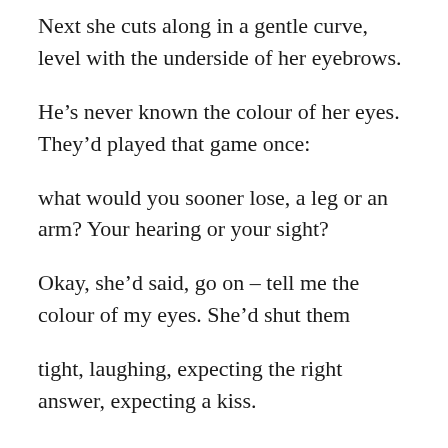Next she cuts along in a gentle curve, level with the underside of her eyebrows.
He’s never known the colour of her eyes. They’d played that game once:
what would you sooner lose, a leg or an arm? Your hearing or your sight?
Okay, she’d said, go on – tell me the colour of my eyes. She’d shut them
tight, laughing, expecting the right answer, expecting a kiss.
The hairs drop into the sink. It will be blocked